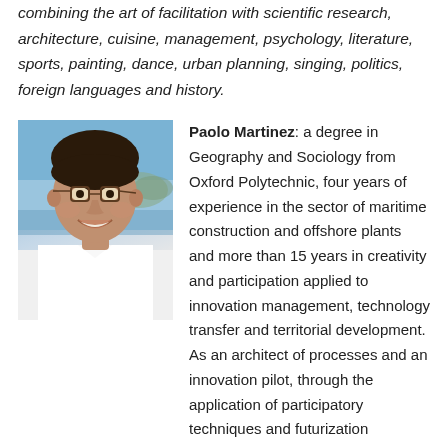combining the art of facilitation with scientific research, architecture, cuisine, management, psychology, literature, sports, painting, dance, urban planning, singing, politics, foreign languages and history.
[Figure (photo): Headshot photo of Paolo Martinez, a man with short dark hair and glasses, smiling, wearing a white shirt, with a coastal/seaside background with blue sky and water.]
Paolo Martinez: a degree in Geography and Sociology from Oxford Polytechnic, four years of experience in the sector of maritime construction and offshore plants and more than 15 years in creativity and participation applied to innovation management, technology transfer and territorial development. As an architect of processes and an innovation pilot, through the application of participatory techniques and futurization methods, for years he has been coordinating and managing projects in Italy and abroad for clients in the following private and public sectors: design management, ICT, management consulting, policy making, knowledge society, intellectual capital, territorial